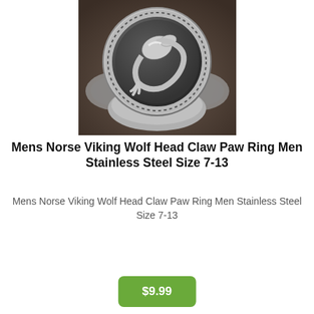[Figure (photo): Close-up photo of a silver stainless steel men's ring with a Norse Viking wolf head claw paw design engraved on a circular face, shown on a dark stone surface.]
Mens Norse Viking Wolf Head Claw Paw Ring Men Stainless Steel Size 7-13
Mens Norse Viking Wolf Head Claw Paw Ring Men Stainless Steel Size 7-13
$9.99